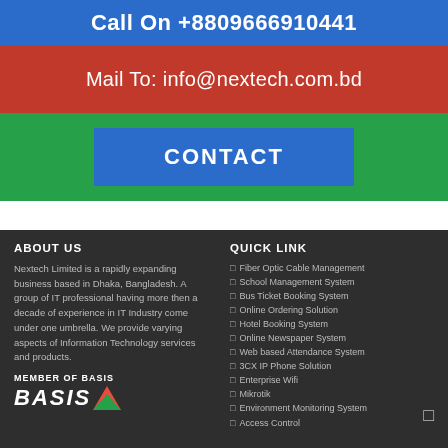Call On +8809666910441
Mail To: info@nextech.com.bd
CONTACT
ABOUT US
Nextech Limited is a rapidly expanding business based in Dhaka, Bangladesh. A group of IT professional having more then a decade of experience in IT Industry come under one umbrella. We provide varying aspects of Information Technology services and products.
QUICK LINK
Fiber Optic Cable Management
School Management System
Bus Ticket Booking System
Online Ordering Solution
Hotel Booking System
Online Newspaper System
Web based Attendance System
3CX IP Phone Solution
Enterprise Wifi
Mikrotik
Environment Monitoring System
Access Control
MEMBER OF BASIS
BASIS